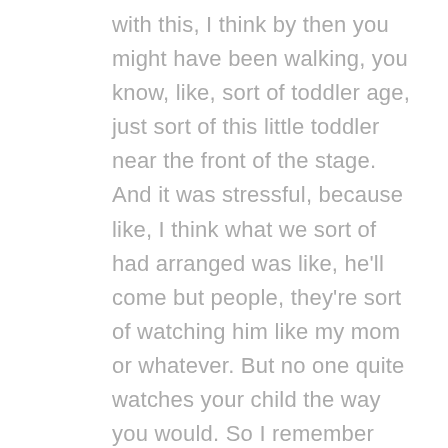with this, I think by then you might have been walking, you know, like, sort of toddler age, just sort of this little toddler near the front of the stage. And it was stressful, because like, I think what we sort of had arranged was like, he'll come but people, they're sort of watching him like my mom or whatever. But no one quite watches your child the way you would. So I remember just being on stage and just being like someone grabbing plays, you know, like, he was too close. But like not